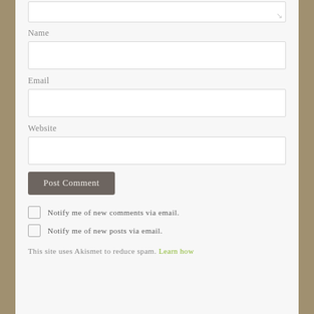[Figure (screenshot): Partial textarea input field at top of page, clipped]
Name
[Figure (screenshot): Name input text field, empty]
Email
[Figure (screenshot): Email input text field, empty]
Website
[Figure (screenshot): Website input text field, empty]
Post Comment
Notify me of new comments via email.
Notify me of new posts via email.
This site uses Akismet to reduce spam. Learn how